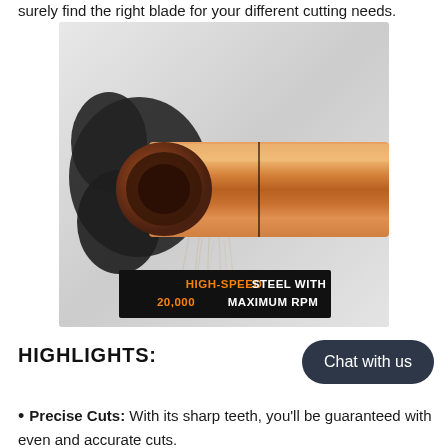surely find the right blade for your different cutting needs.
[Figure (photo): Close-up photo of a copper pipe being cut with a rotary pipe cutter. The pipe is copper-colored tube. Black handles of the cutter are visible. Text overlay reads: HIGH-SPEED STEEL WITH 20,000 MAXIMUM RPM]
HIGHLIGHTS:
Precise Cuts: With its sharp teeth, you'll be guaranteed with even and accurate cuts.